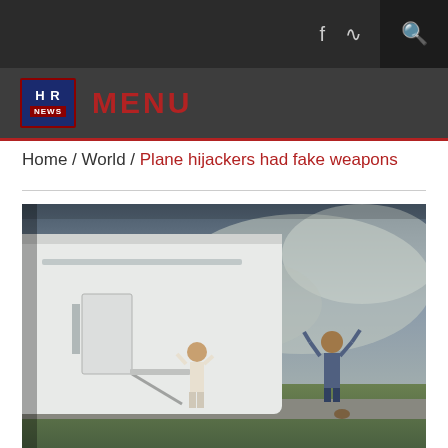HR NEWS — Navigation bar with social icons and search
Home / World / Plane hijackers had fake weapons
[Figure (photo): Outdoor scene showing two figures near the tail section of a white aircraft on an airfield, with smoke or hazy sky in the background. One figure has arms raised.]